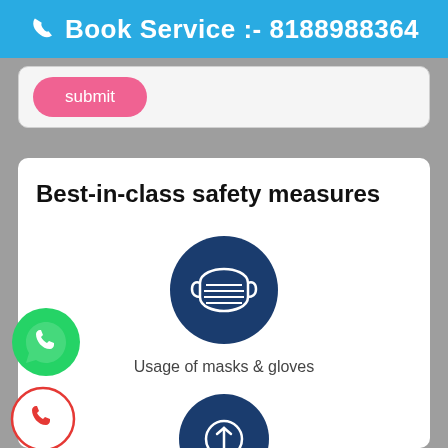Book Service :- 8188988364
[Figure (screenshot): Pink/red submit button on a light gray form card]
Best-in-class safety measures
[Figure (illustration): Dark blue circle icon with a white face mask (surgical mask) illustration]
Usage of masks & gloves
[Figure (illustration): Dark blue circle icon partially visible at bottom of page]
[Figure (illustration): Green WhatsApp floating button on left side]
[Figure (illustration): Red phone call floating button on left side]